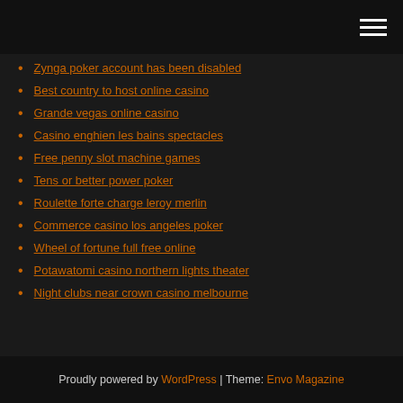[hamburger menu icon]
Zynga poker account has been disabled
Best country to host online casino
Grande vegas online casino
Casino enghien les bains spectacles
Free penny slot machine games
Tens or better power poker
Roulette forte charge leroy merlin
Commerce casino los angeles poker
Wheel of fortune full free online
Potawatomi casino northern lights theater
Night clubs near crown casino melbourne
Proudly powered by WordPress | Theme: Envo Magazine